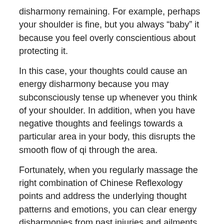disharmony remaining. For example, perhaps your shoulder is fine, but you always “baby” it because you feel overly conscientious about protecting it.
In this case, your thoughts could cause an energy disharmony because you may subconsciously tense up whenever you think of your shoulder. In addition, when you have negative thoughts and feelings towards a particular area in your body, this disrupts the smooth flow of qi through the area.
Fortunately, when you regularly massage the right combination of Chinese Reflexology points and address the underlying thought patterns and emotions, you can clear energy disharmonies from past injuries and ailments.
Something Chronic
If something has been going on in your physical body for a long time—whether it be months or years